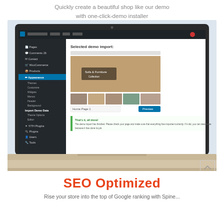Quickly create a beautiful shop like our demo
with one-click-demo installer
[Figure (screenshot): MacBook Air laptop displaying a WordPress admin dashboard with 'Selected demo import:' showing a furniture shop theme preview. The sidebar shows WordPress navigation including Pages, Comments, Contact, WooCommerce, Products, Appearance (expanded with Themes, Customize, Widgets, Menus, Header, Background, Import Demo Data, Theme Options, Editor), YITH Plugins, Plugins, Users, Tools. Main content shows a selected demo import with preview thumbnails of a furniture/home decor website and Home Page 1 option with a Preview button. A green success message reads 'That's it, all done!' with text about demo import completion.]
SEO Optimized
Rise your store into the top of Google ranking with Spine...